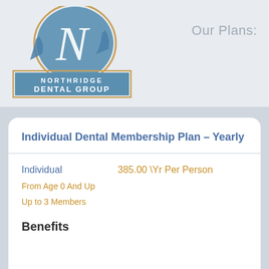[Figure (logo): Northridge Dental Group logo with stylized N in a blue circle and rectangular banner below]
Our Plans:
Individual Dental Membership Plan - Yearly
Individual    385.00 \Yr Per Person
From Age 0 And Up
Up to 3 Members
Benefits